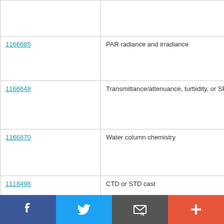| ID | Type | Date |
| --- | --- | --- |
|  |  | 10:00:0 |
| 1166685 | PAR radiance and irradiance | 2011-06 10:00:0 |
| 1166648 | Transmittance/attenuance, turbidity, or SPM conc. | 2011-06 10:00:0 |
| 1166870 | Water column chemistry | 2011-06 10:00:0 |
| 1118498 | CTD or STD cast | 2011-06 |
| 1118658 | CTD or STD cast | 2011-06 22:58:0 |
| 1166869 | Water column chemistry | 2011-06 |
[Figure (infographic): Social media sharing bar with Facebook (blue), Twitter (light blue), Email (dark grey), and Add/Plus (orange-red) buttons]